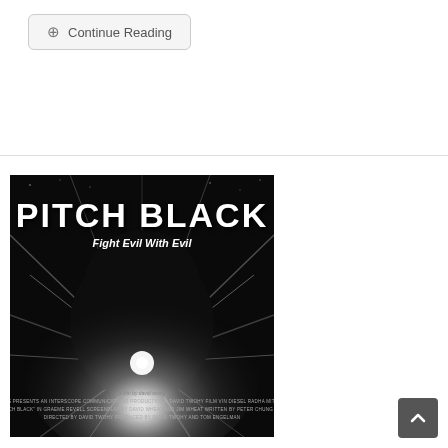Continue Reading
[Figure (photo): Movie poster for Pitch Black. Black and white image showing a silhouette of a head with a bright starburst light. Text reads PITCH BLACK - Fight Evil With Evil. Bottom has movie credits.]
[Figure (other): Back to top button - dark grey square with upward arrow]